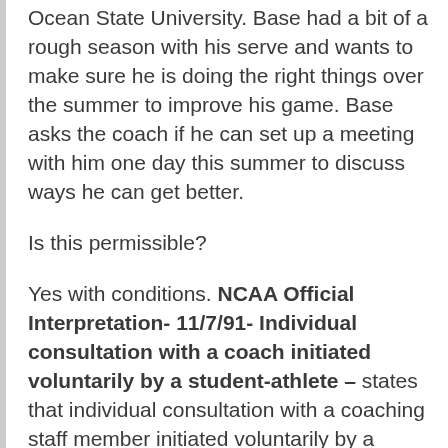Ocean State University.  Base had a bit of a rough season with his serve and wants to make sure he is doing the right things over the summer to improve his game.  Base asks the coach if he can set up a meeting with him one day this summer to discuss ways he can get better.
Is this permissible?
Yes with conditions.  NCAA Official Interpretation- 11/7/91-  Individual consultation with a coach initiated voluntarily by a student-athlete – states that  individual consultation with a coaching staff member initiated voluntarily by a student-athlete is not a countable athletically related activity, provided any discussion